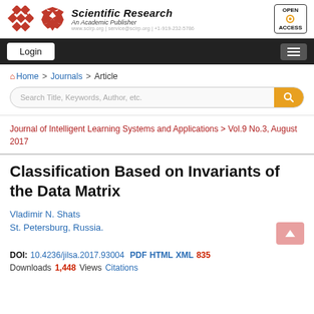Scientific Research An Academic Publisher | OPEN ACCESS
Login
Home > Journals > Article
Search Title, Keywords, Author, etc.
Journal of Intelligent Learning Systems and Applications > Vol.9 No.3, August 2017
Classification Based on Invariants of the Data Matrix
Vladimir N. Shats
St. Petersburg, Russia.
DOI: 10.4236/jilsa.2017.93004 PDF HTML XML 835
Downloads 1,448 Views Citations